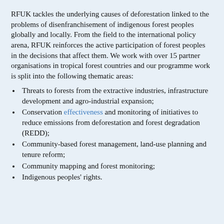RFUK tackles the underlying causes of deforestation linked to the problems of disenfranchisement of indigenous forest peoples globally and locally. From the field to the international policy arena, RFUK reinforces the active participation of forest peoples in the decisions that affect them. We work with over 15 partner organisations in tropical forest countries and our programme work is split into the following thematic areas:
Threats to forests from the extractive industries, infrastructure development and agro-industrial expansion;
Conservation effectiveness and monitoring of initiatives to reduce emissions from deforestation and forest degradation (REDD);
Community-based forest management, land-use planning and tenure reform;
Community mapping and forest monitoring;
Indigenous peoples' rights.